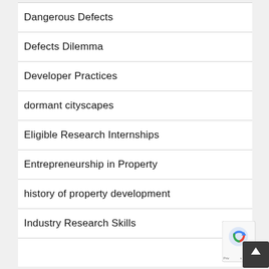Dangerous Defects
Defects Dilemma
Developer Practices
dormant cityscapes
Eligible Research Internships
Entrepreneurship in Property
history of property development
Industry Research Skills